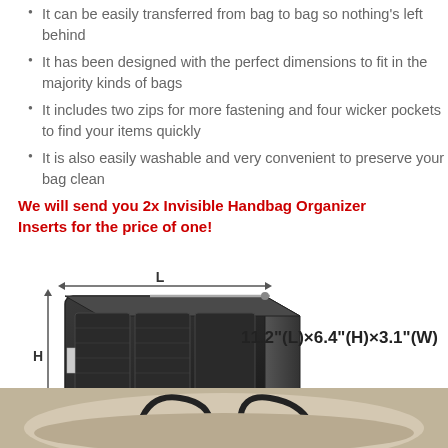It can be easily transferred from bag to bag so nothing's left behind
It has been designed with the perfect dimensions to fit in the majority kinds of bags
It includes two zips for more fastening and four wicker pockets to find your items quickly
It is also easily washable and very convenient to preserve your bag clean
We will send you 2x Invisible Handbag Organizer Inserts for the price of one!
[Figure (photo): Black handbag organizer insert shown with dimension labels L, H, W and measurement text 11.2"(L)×6.4"(H)×3.1"(W)]
[Figure (photo): Bottom strip showing partial view of a bag with handles in beige/tan color]